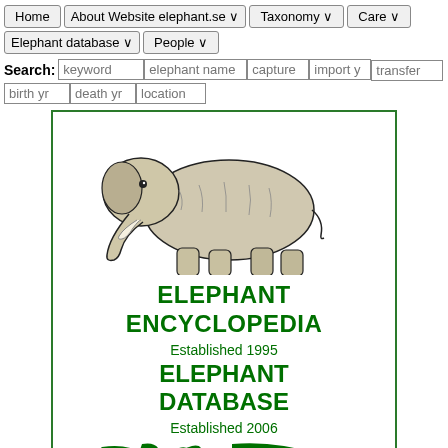Home | About Website elephant.se | Taxonomy | Care | Elephant database | People
Search: keyword | elephant name | capture | import yr | transfer | birth yr | death yr | location
[Figure (screenshot): Elephant Encyclopedia website homepage card showing a black and white elephant illustration, green text 'ELEPHANT ENCYCLOPEDIA Established 1995 ELEPHANT DATABASE Established 2006', a green world map, and a solid green rectangle at the bottom, all within a green bordered card.]